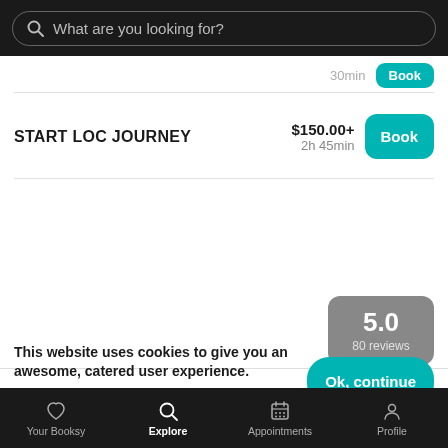What are you looking for?
30min
Book
START LOC JOURNEY
$150.00+
2h 45min
Book
[Figure (other): Rating badge showing 5.0 with 80 reviews on grey rounded rectangle]
This website uses cookies to give you an awesome, catered user experience. Continuing on after seeing this message means that you're cool with that.
Ok, continue
Your Booksy  Explore  Appointments  Profile